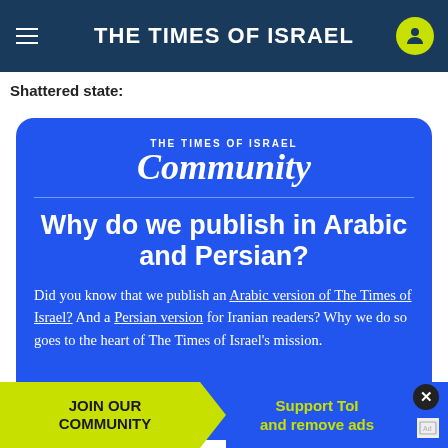THE TIMES OF ISRAEL
Shattered state:
[Figure (screenshot): The Times of Israel Community promotional card on blue background with title 'Why do we publish in Arabic and Persian?' and body text about Arabic and Persian versions of the publication.]
THE TIMES OF ISRAEL Community
Why do we publish in Arabic and Persian?
Did you know that we publish an Arabic version of The Times of Israel? And a Persian version for Iranian readers? Why we do so goes to the heart of The Times of Israel's mission.
JOIN OUR COMMUNITY   Support ToI and remove ads